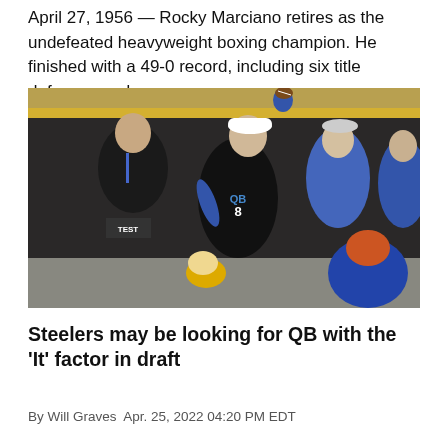April 27, 1956 — Rocky Marciano retires as the undefeated heavyweight boxing champion. He finished with a 49-0 record, including six title defenses and...
[Figure (photo): A quarterback wearing a black QB jersey with number 8 raises a football overhead at what appears to be a college pro day or combine workout. He wears a backwards white cap and blue gloves. Several people in blue hoodies are visible in the background along with yellow and grey walls.]
Steelers may be looking for QB with the 'It' factor in draft
By Will Graves Apr. 25, 2022 04:20 PM EDT